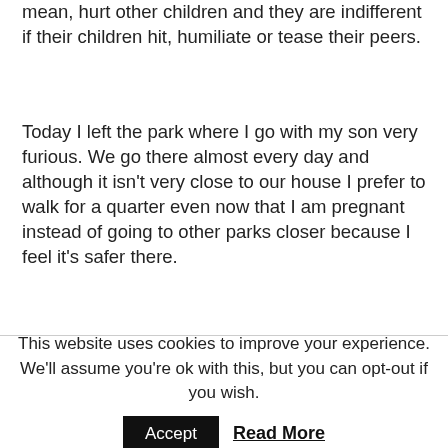mean, hurt other children and they are indifferent if their children hit, humiliate or tease their peers.
Today I left the park where I go with my son very furious. We go there almost every day and although it isn't very close to our house I prefer to walk for a quarter even now that I am pregnant instead of going to other parks closer because I feel it's safer there.
This website uses cookies to improve your experience. We'll assume you're ok with this, but you can opt-out if you wish.
Accept   Read More